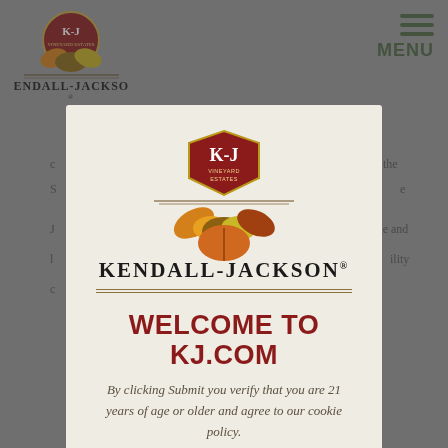[Figure (logo): Kendall-Jackson vineyard estates logo with autumn leaves emblem, top left of background page]
MENU
6. D... notified ... 2020. ... rize, ... l ... pt an ... ired ... h ... ance of
[Figure (logo): Kendall-Jackson Vineyard Estates large emblem with colorful autumn leaves and KJ shield]
WELCOME TO KJ.COM
By clicking Submit you verify that you are 21 years of age or older and agree to our cookie policy.
View our cookie policy
SUBMIT